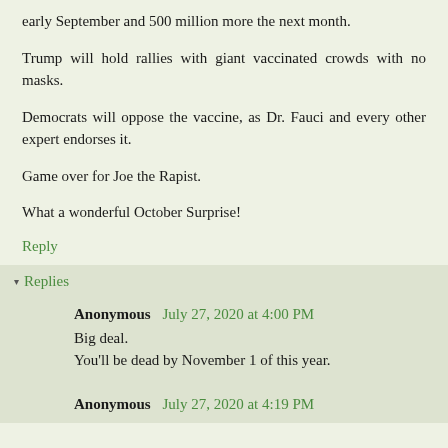early September and 500 million more the next month.
Trump will hold rallies with giant vaccinated crowds with no masks.
Democrats will oppose the vaccine, as Dr. Fauci and every other expert endorses it.
Game over for Joe the Rapist.
What a wonderful October Surprise!
Reply
Replies
Anonymous  July 27, 2020 at 4:00 PM
Big deal.
You'll be dead by November 1 of this year.
Anonymous  July 27, 2020 at 4:19 PM